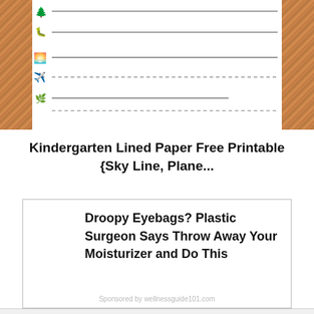[Figure (illustration): Kindergarten lined paper printable with emoji icons (tree, worm, sun/landscape, airplane, grass) on the left side next to writing lines (solid and dashed), framed by cork-textured borders on left and right.]
Kindergarten Lined Paper Free Printable {Sky Line, Plane...
[Figure (infographic): Advertisement box with bold text: Droopy Eyebags? Plastic Surgeon Says Throw Away Your Moisturizer and Do This]
Sponsored by wellnessguide101.com